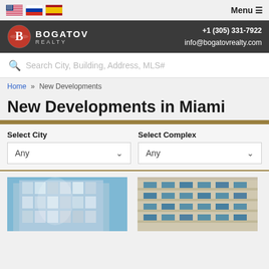Bogatov Realty — Menu | Flags: US, Russia, Spain
[Figure (screenshot): Bogatov Realty website header with logo, contact info +1 (305) 331-7922 and info@bogatovrealty.com]
Search City, Building, Address, MLS#
Home » New Developments
New Developments in Miami
Select City — Any
Select Complex — Any
[Figure (photo): Two building photos: modern glass high-rise on left, beige concrete apartment building on right]